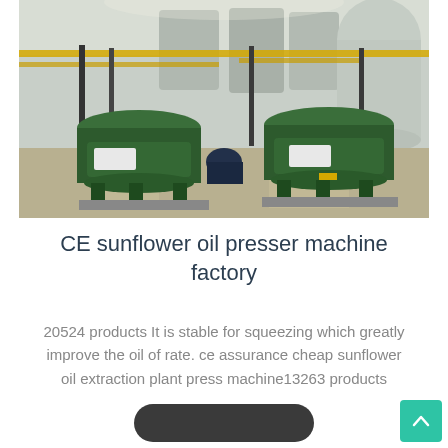[Figure (photo): Industrial oil processing factory interior showing large green centrifuge machines on the floor, metal tanks in the background, yellow pipes running along the ceiling, and shiny reflective concrete flooring.]
CE sunflower oil presser machine factory
20524 products It is stable for squeezing which greatly improve the oil of rate. ce assurance cheap sunflower oil extraction plant press machine13263 products